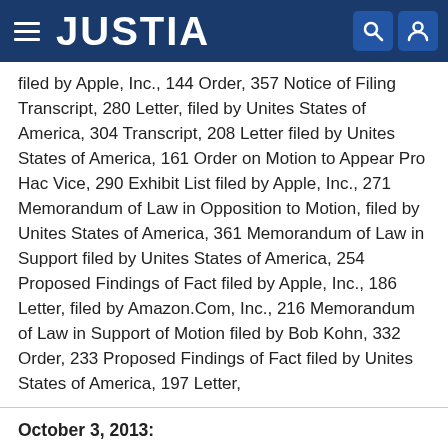JUSTIA
filed by Apple, Inc., 144 Order, 357 Notice of Filing Transcript, 280 Letter, filed by Unites States of America, 304 Transcript, 208 Letter filed by Unites States of America, 161 Order on Motion to Appear Pro Hac Vice, 290 Exhibit List filed by Apple, Inc., 271 Memorandum of Law in Opposition to Motion, filed by Unites States of America, 361 Memorandum of Law in Support filed by Unites States of America, 254 Proposed Findings of Fact filed by Apple, Inc., 186 Letter, filed by Amazon.Com, Inc., 216 Memorandum of Law in Support of Motion filed by Bob Kohn, 332 Order, 233 Proposed Findings of Fact filed by Unites States of America, 197 Letter,
October 3, 2013: Filing 379 NOTICE OF APPEAL from 326 Memorandum & Opinion, 374 Order,,,,,,,,. Document